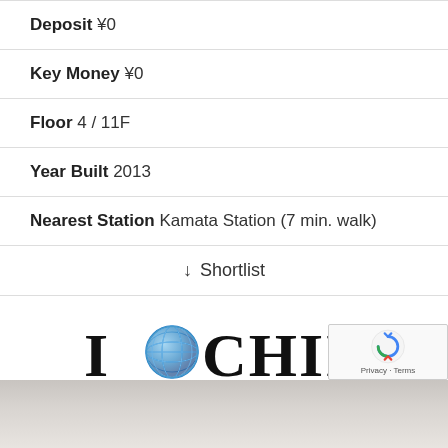Deposit ¥0
Key Money ¥0
Floor 4 / 11F
Year Built 2013
Nearest Station Kamata Station (7 min. walk)
↓ Shortlist
[Figure (logo): ICHII CORPORATION logo with globe icon]
ICHII CORPORATION
[Figure (photo): Interior room photo, partially visible at bottom]